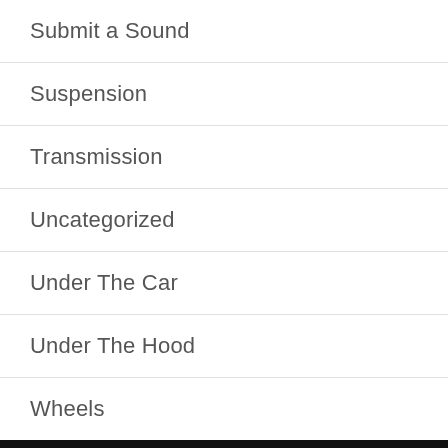Submit a Sound
Suspension
Transmission
Uncategorized
Under The Car
Under The Hood
Wheels
RECENT POSTS
[Figure (photo): Landscape photo of a road at sunset with golden sky and green trees]
How to Make Your Truck Louder
Why get a truck if you can't